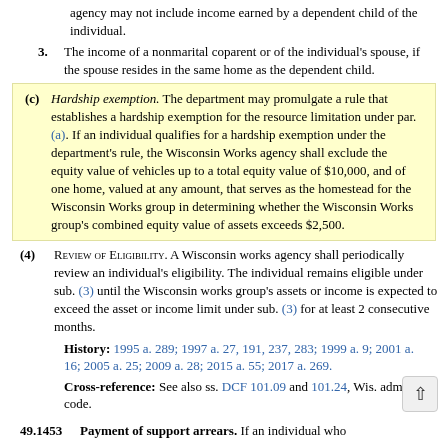agency may not include income earned by a dependent child of the individual.
3. The income of a nonmarital coparent or of the individual's spouse, if the spouse resides in the same home as the dependent child.
(c) Hardship exemption. The department may promulgate a rule that establishes a hardship exemption for the resource limitation under par. (a). If an individual qualifies for a hardship exemption under the department's rule, the Wisconsin Works agency shall exclude the equity value of vehicles up to a total equity value of $10,000, and of one home, valued at any amount, that serves as the homestead for the Wisconsin Works group in determining whether the Wisconsin Works group's combined equity value of assets exceeds $2,500.
(4) REVIEW OF ELIGIBILITY. A Wisconsin works agency shall periodically review an individual's eligibility. The individual remains eligible under sub. (3) until the Wisconsin works group's assets or income is expected to exceed the asset or income limit under sub. (3) for at least 2 consecutive months.
History: 1995 a. 289; 1997 a. 27, 191, 237, 283; 1999 a. 9; 2001 a. 16; 2005 a. 25; 2009 a. 28; 2015 a. 55; 2017 a. 269.
Cross-reference: See also ss. DCF 101.09 and 101.24, Wis. adm. code.
49.1453    Payment of support arrears. If an individual who